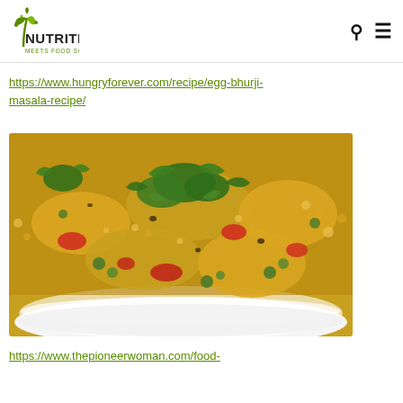Nutrition Meets Food Science
https://www.hungryforever.com/recipe/egg-bhurji-masala-recipe/
[Figure (photo): A bowl of egg bhurji masala with scrambled eggs, red bell peppers, green peas, and fresh cilantro garnish in a white bowl]
https://www.thepioneerwoman.com/food-